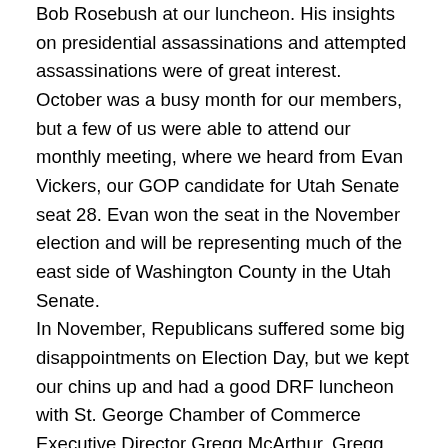Bob Rosebush at our luncheon.  His insights on presidential assassinations and attempted assassinations were of great interest.
October was a busy month for our members, but a few of us were able to attend our monthly meeting, where we heard from Evan Vickers, our GOP candidate for Utah Senate seat 28.  Evan won the seat in the November election and will be representing much of the east side of Washington County in the Utah Senate.
In November, Republicans suffered some big disappointments on Election Day, but we kept our chins up and had a good DRF luncheon with St. George Chamber of Commerce Executive Director Gregg McArthur.  Gregg talked about the economic outlook for the future, which is generally positive for 2013.
We finished the year with our Christmas Party in December, which featured a Christmas feast, Christmas